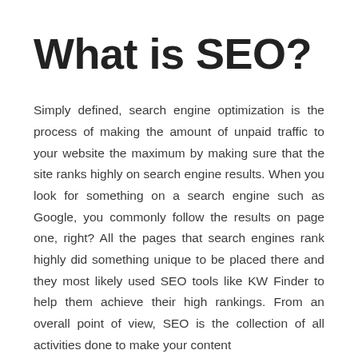What is SEO?
Simply defined, search engine optimization is the process of making the amount of unpaid traffic to your website the maximum by making sure that the site ranks highly on search engine results. When you look for something on a search engine such as Google, you commonly follow the results on page one, right? All the pages that search engines rank highly did something unique to be placed there and they most likely used SEO tools like KW Finder to help them achieve their high rankings. From an overall point of view, SEO is the collection of all activities done to make your content